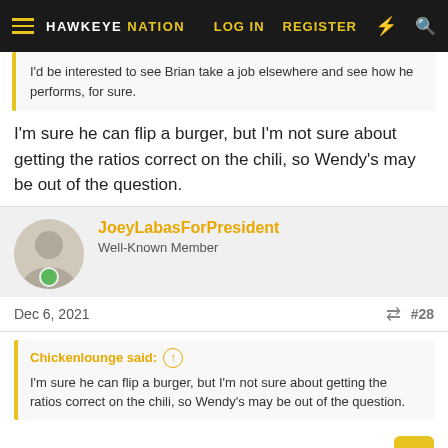HAWKEYE NATION — LOG IN | REGISTER
I'd be interested to see Brian take a job elsewhere and see how he performs, for sure.
I'm sure he can flip a burger, but I'm not sure about getting the ratios correct on the chili, so Wendy's may be out of the question.
JoeyLabasForPresident — Well-Known Member
Dec 6, 2021  #28
Chickenlounge said: ↑
I'm sure he can flip a burger, but I'm not sure about getting the ratios correct on the chili, so Wendy's may be out of the question.
I want to see him in one of B-Bops hats.
Chickenlounge